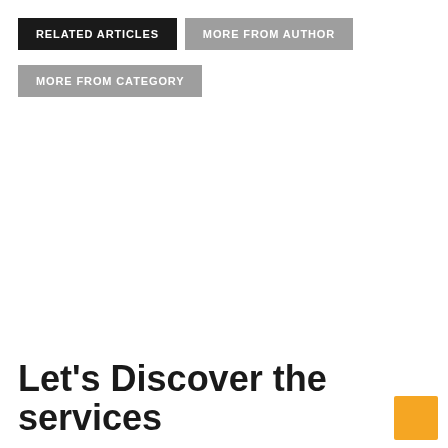RELATED ARTICLES
MORE FROM AUTHOR
MORE FROM CATEGORY
Let’s Discover the services